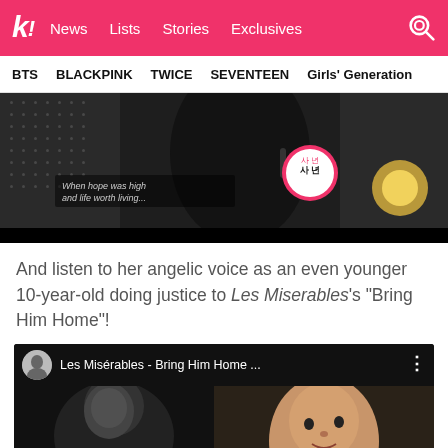k! News Lists Stories Exclusives
BTS BLACKPINK TWICE SEVENTEEN Girls' Generation
[Figure (photo): Concert photo of a performer in a black leather jacket singing into a microphone, with a pink circular badge showing Korean text, dark dotted background and warm yellow stage light]
And listen to her angelic voice as an even younger 10-year-old doing justice to Les Miserables's “Bring Him Home”!
[Figure (screenshot): YouTube video preview showing 'Les Misérables - Bring Him Home ...' with a small avatar thumbnail on the left, and video frames showing a performer and a young girl]